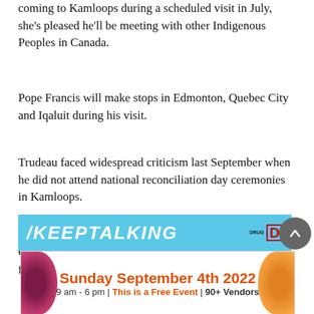coming to Kamloops during a scheduled visit in July, she's pleased he'll be meeting with other Indigenous Peoples in Canada.
Pope Francis will make stops in Edmonton, Quebec City and Iqaluit during his visit.
Trudeau faced widespread criticism last September when he did not attend national reconciliation day ceremonies in Kamloops.
Casimir told the memorial attendees Trudeau apologized for not coming to Kamloops last September.
[Figure (screenshot): Advertisement banner: top portion shows a light blue banner with white italic bold text 'KEEPTALKING' and a Drug D logo on the right. Bottom portion shows a white ad for Sunday September 4th 2022, 9 am - 6 pm | This is a Free Event | 90+ Vendors, with decorative food images on sides.]